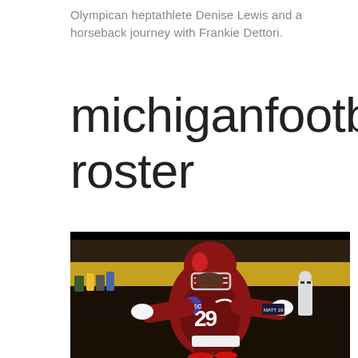Olympican heptathlete Denise Lewis and a horseback journey with Frankie Dettori.
michigan football roster
[Figure (photo): Football player wearing Alabama crimson jersey number 29 with SEC logo, arms spread wide in celebration pose, wearing full pads and helmet, stadium crowd in background]